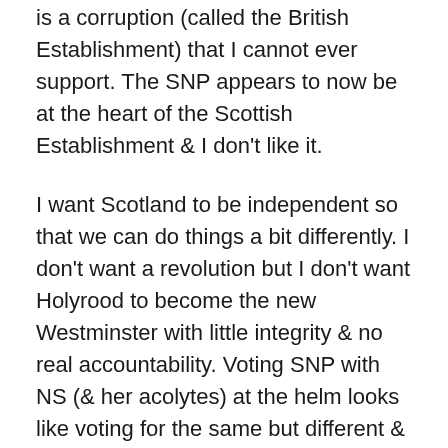is a corruption (called the British Establishment) that I cannot ever support. The SNP appears to now be at the heart of the Scottish Establishment & I don't like it.
I want Scotland to be independent so that we can do things a bit differently. I don't want a revolution but I don't want Holyrood to become the new Westminster with little integrity & no real accountability. Voting SNP with NS (& her acolytes) at the helm looks like voting for the same but different & is not a step forward in my opinion. But there is no real alternative right now.
Voting for any of the Unionist parties is a step back & I'm not about to do that but I can't help but feel that the Independence Movement needs the SNP to